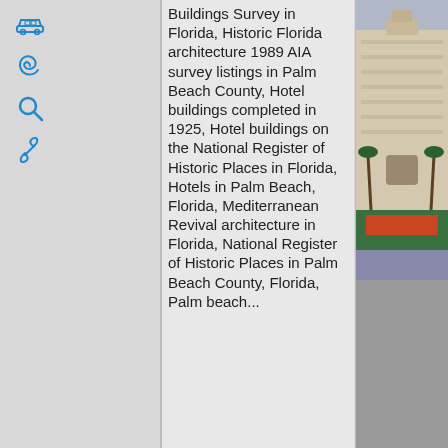[Figure (other): Icon bar with car, spiral, magnifier, and link icons on grey background]
Buildings Survey in Florida, Historic Florida architecture 1989 AIA survey listings in Palm Beach County, Hotel buildings completed in 1925, Hotel buildings on the National Register of Historic Places in Florida, Hotels in Palm Beach, Florida, Mediterranean Revival architecture in Florida, National Register of Historic Places in Palm Beach County, Florida, Palm Beach...
[Figure (photo): Photograph of a large Mediterranean Revival hotel building with palm trees and manicured gardens in the foreground]